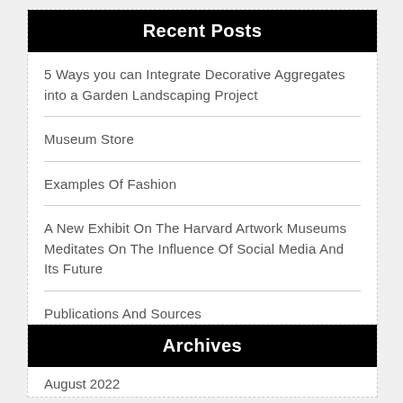Recent Posts
5 Ways you can Integrate Decorative Aggregates into a Garden Landscaping Project
Museum Store
Examples Of Fashion
A New Exhibit On The Harvard Artwork Museums Meditates On The Influence Of Social Media And Its Future
Publications And Sources
Archives
August 2022